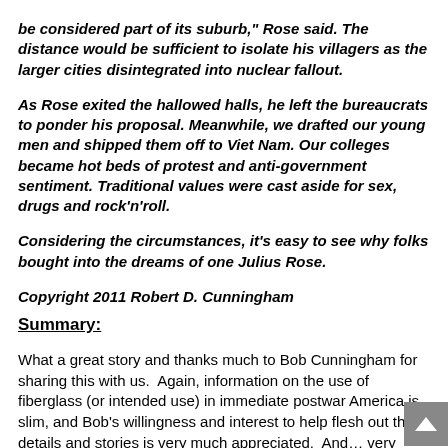be considered part of its suburb," Rose said. The distance would be sufficient to isolate his villagers as the larger cities disintegrated into nuclear fallout.
As Rose exited the hallowed halls, he left the bureaucrats to ponder his proposal. Meanwhile, we drafted our young men and shipped them off to Viet Nam. Our colleges became hot beds of protest and anti-government sentiment. Traditional values were cast aside for sex, drugs and rock'n'roll.
Considering the circumstances, it's easy to see why folks bought into the dreams of one Julius Rose.
Copyright 2011 Robert D. Cunningham
Summary:
What a great story and thanks much to Bob Cunningham for sharing this with us.  Again, information on the use of fiberglass (or intended use) in immediate postwar America is slim, and Bob's willingness and interest to help flesh out these details and stories is very much appreciated.  And… very interesting “backstory” on Julius Rose – particularly later in his life.  Thanks Bob for a